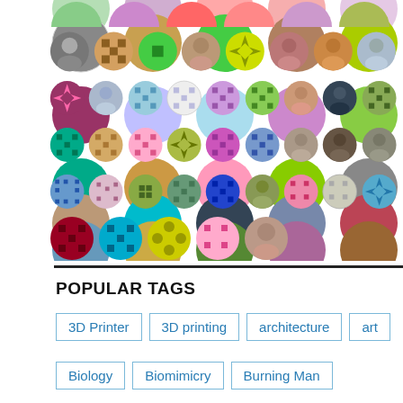[Figure (illustration): Grid of circular avatar icons showing a mix of user profile photos and colorful geometric pattern avatars arranged in 6 rows of 9 columns]
POPULAR TAGS
3D Printer
3D printing
architecture
art
Biology
Biomimicry
Burning Man